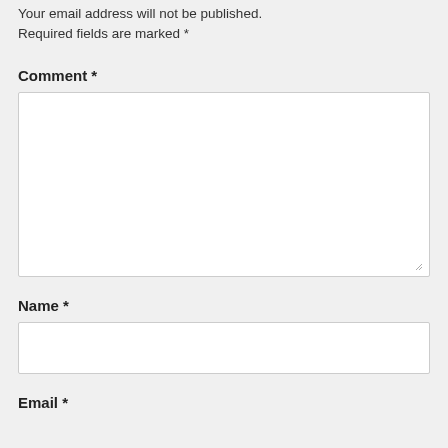Your email address will not be published. Required fields are marked *
Comment *
[Figure (other): Large empty comment textarea input box with resize handle at bottom right]
Name *
[Figure (other): Single-line name input box]
Email *